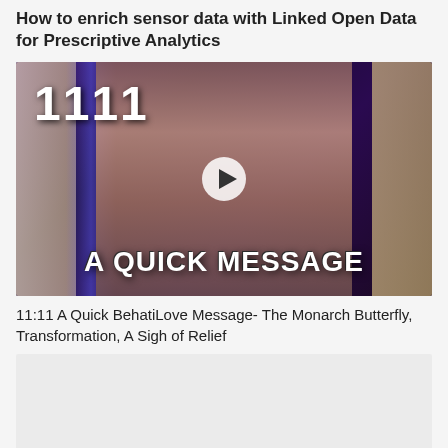How to enrich sensor data with Linked Open Data for Prescriptive Analytics
[Figure (screenshot): Video thumbnail showing a woman holding tarot cards with text '1111' at top left and 'A QUICK MESSAGE' at the bottom, with a play button overlay in the center.]
11:11 A Quick BehatiLove Message- The Monarch Butterfly, Transformation, A Sigh of Relief